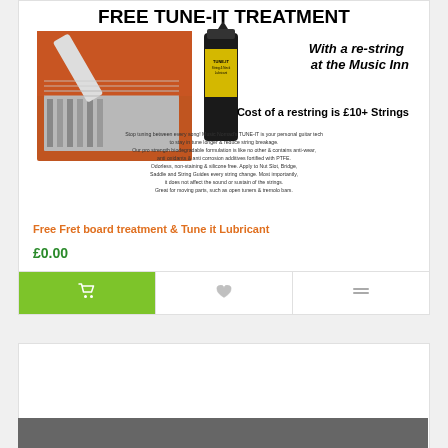[Figure (photo): Advertisement image for Free Tune-It Treatment product. Shows title 'FREE TUNE-IT TREATMENT', a photo of guitar bridge/strings being worked on, a tube of TUNE-IT product, italic text 'With a re-string at the Music Inn', and text 'Cost of a restring is £10+ Strings'. Also includes descriptive paragraph about the product.]
Free Fret board treatment & Tune it Lubricant
£0.00